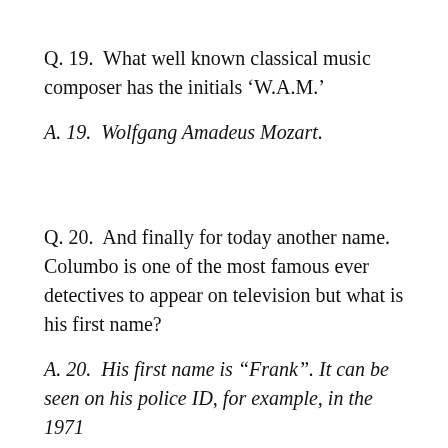Q. 19.  What well known classical music composer has the initials 'W.A.M.'
A. 19.  Wolfgang Amadeus Mozart.
Q. 20.  And finally for today another name. Columbo is one of the most famous ever detectives to appear on television but what is his first name?
A. 20.  His first name is "Frank". It can be seen on his police ID, for example, in the 1971